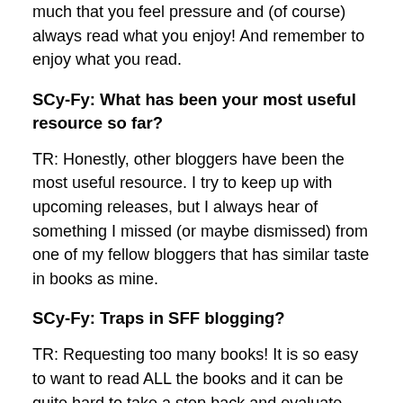much that you feel pressure and (of course) always read what you enjoy! And remember to enjoy what you read.
SCy-Fy: What has been your most useful resource so far?
TR: Honestly, other bloggers have been the most useful resource. I try to keep up with upcoming releases, but I always hear of something I missed (or maybe dismissed) from one of my fellow bloggers that has similar taste in books as mine.
SCy-Fy: Traps in SFF blogging?
TR: Requesting too many books! It is so easy to want to read ALL the books and it can be quite hard to take a step back and evaluate what you can realistically handle. I also think too much negativity can be an issue. I am far from all